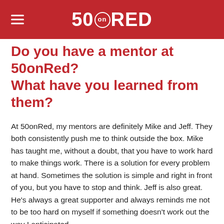50onRed
Do you have a mentor at 50onRed? What have you learned from them?
At 50onRed, my mentors are definitely Mike and Jeff. They both consistently push me to think outside the box. Mike has taught me, without a doubt, that you have to work hard to make things work. There is a solution for every problem at hand. Sometimes the solution is simple and right in front of you, but you have to stop and think. Jeff is also great. He’s always a great supporter and always reminds me not to be too hard on myself if something doesn’t work out the way I anticipated.
Any advice for individuals looking